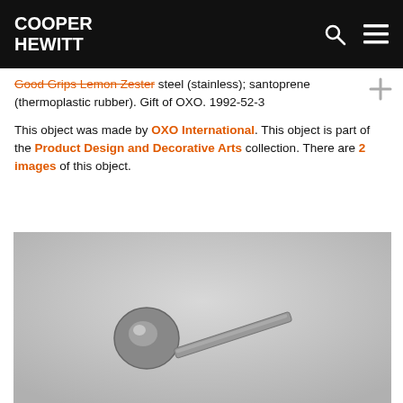COOPER HEWITT
Good Grips Lemon Zester steel (stainless); santoprene (thermoplastic rubber). Gift of OXO. 1992-52-3
This object was made by OXO International. This object is part of the Product Design and Decorative Arts collection. There are 2 images of this object.
[Figure (photo): Photograph of a stainless steel lemon zester with a round bowl head and angled handle, against a light gray background.]